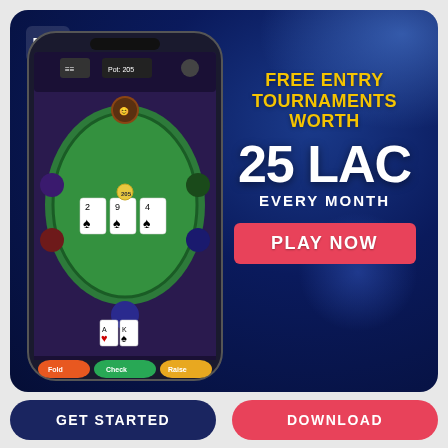[Figure (screenshot): Mobile poker app screenshot showing a poker table with cards (2, 9, 4 of spades) and player avatars, with Fold, Check, Raise buttons at bottom]
FREE ENTRY TOURNAMENTS WORTH
25 LAC
EVERY MONTH
PLAY NOW
GET STARTED
DOWNLOAD